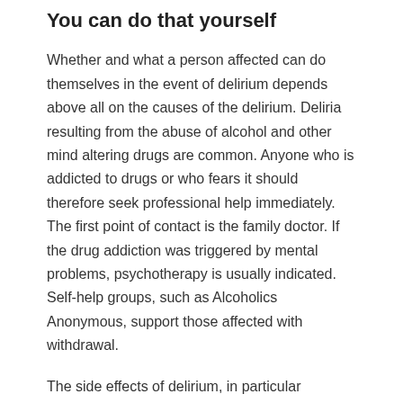You can do that yourself
Whether and what a person affected can do themselves in the event of delirium depends above all on the causes of the delirium. Deliria resulting from the abuse of alcohol and other mind altering drugs are common. Anyone who is addicted to drugs or who fears it should therefore seek professional help immediately. The first point of contact is the family doctor. If the drug addiction was triggered by mental problems, psychotherapy is usually indicated. Self-help groups, such as Alcoholics Anonymous, support those affected with withdrawal.
The side effects of delirium, in particular perception disorders and hallucinations, often ensure social isolation of the person concerned, the psychological consequences of which can exacerbate the underlying disease. Patients should therefore confide in their social environment and speak openly about their illness.